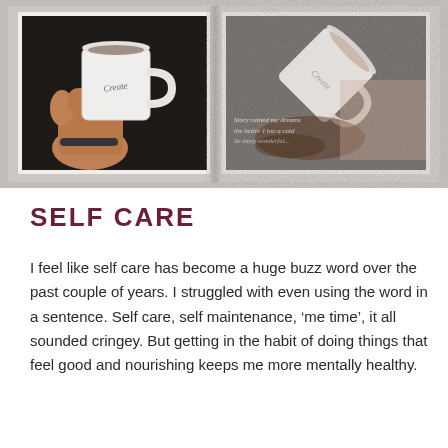[Figure (photo): Two photos side by side in an open book/album. Left photo: a hand holding a white ceramic mug labeled 'Create' against a dark background. Right photo: the same mug tipped over on a textured surface with handwritten journal text visible underneath, appearing grainy/vintage.]
SELF CARE
I feel like self care has become a huge buzz word over the past couple of years. I struggled with even using the word in a sentence. Self care, self maintenance, ‘me time’, it all sounded cringey. But getting in the habit of doing things that feel good and nourishing keeps me more mentally healthy.